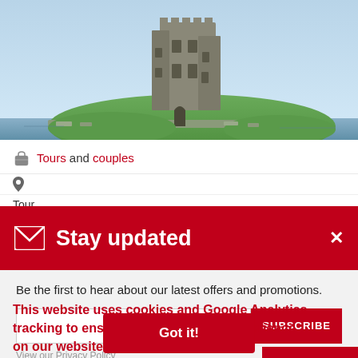[Figure (photo): Castle on a green hillside near water, blue sky background. Appears to be an Irish or Scottish castle (Dunguaire Castle or similar).]
Tours and couples
Tour
Stay updated
Be the first to hear about our latest offers and promotions.
SUBSCRIBE
View our Privacy Policy
This website uses cookies and Google Analytics tracking to ensure you get the best experience on our website. Learn more
Got it!